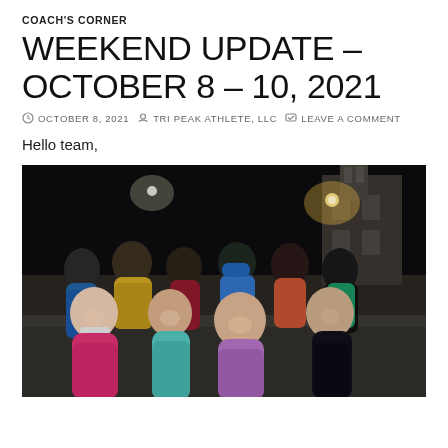COACH'S CORNER
WEEKEND UPDATE – OCTOBER 8 – 10, 2021
OCTOBER 8, 2021   TRI PEAK ATHLETE, LLC   LEAVE A COMMENT
Hello team,
[Figure (photo): Group photo of approximately 9 athletes in running gear posing together at night outdoors. The group is smiling, wearing colorful athletic clothing including tank tops and running shorts. Background shows street lights and a building at night.]